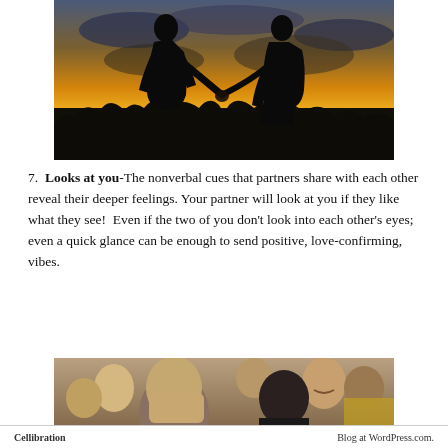[Figure (photo): Silhouette of two people holding hands against a sunset sky with warm golden and orange tones and dark treeline]
7. Looks at you- The nonverbal cues that partners share with each other reveal their deeper feelings. Your partner will look at you if they like what they see! Even if the two of you don't look into each other's eyes; even a quick glance can be enough to send positive, love-confirming, vibes.
[Figure (photo): Crowd of people, man in foreground with shaved head covering his face, others smiling around him]
Cellibration    Blog at WordPress.com.